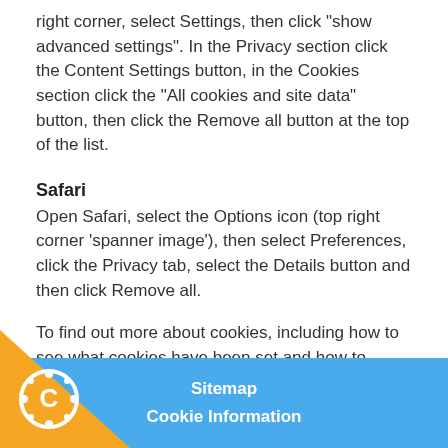right corner, select Settings, then click "show advanced settings". In the Privacy section click the Content Settings button, in the Cookies section click the "All cookies and site data" button, then click the Remove all button at the top of the list.
Safari
Open Safari, select the Options icon (top right corner 'spanner image'), then select Preferences, click the Privacy tab, select the Details button and then click Remove all.
To find out more about cookies, including how to see what cookies have been set and how to manage and delete them, visit allaboutcookies.org.
Sitemap
Cookie Information